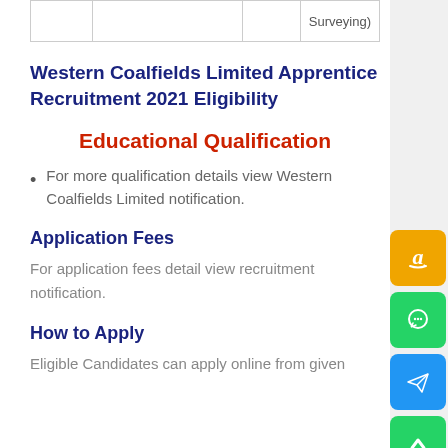|  |  |  | Surveying) |
| --- | --- | --- | --- |
|  |  |  |  |
Western Coalfields Limited Apprentice Recruitment 2021 Eligibility
Educational Qualification
For more qualification details view Western Coalfields Limited notification.
Application Fees
For application fees detail view recruitment notification.
How to Apply
Eligible Candidates can apply online from given